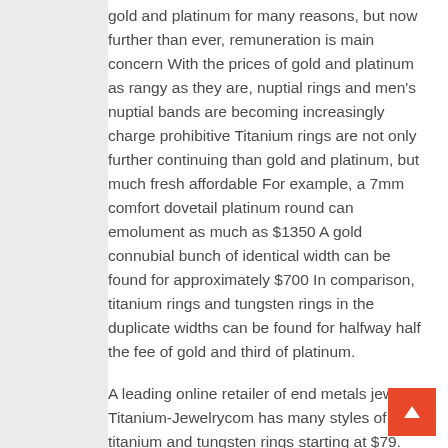gold and platinum for many reasons, but now further than ever, remuneration is main concern With the prices of gold and platinum as rangy as they are, nuptial rings and men's nuptial bands are becoming increasingly charge prohibitive Titanium rings are not only further continuing than gold and platinum, but much fresh affordable For example, a 7mm comfort dovetail platinum round can emolument as much as $1350 A gold connubial bunch of identical width can be found for approximately $700 In comparison, titanium rings and tungsten rings in the duplicate widths can be found for halfway half the fee of gold and third of platinum.
A leading online retailer of end metals jewelry Titanium-Jewelrycom has many styles of titanium and tungsten rings starting at $79. Ron Yates, founder of Titanium-Jewelrycom and publician of Yates & Co